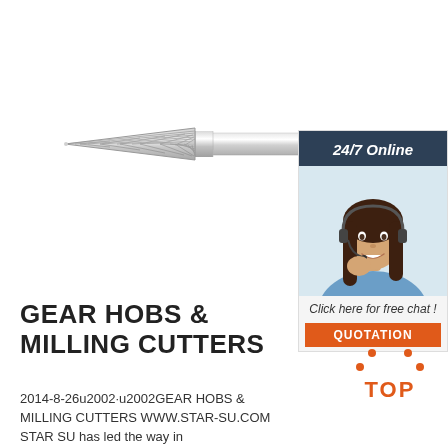[Figure (photo): Carbide burr / rotary cutting tool with pointed cone shape and long shank, shown in silver metallic finish on white background]
[Figure (photo): Customer service widget: dark header '24/7 Online', photo of smiling woman with headset, text 'Click here for free chat!' and orange QUOTATION button]
GEAR HOBS & MILLING CUTTERS
[Figure (logo): Orange TOP badge with dot pattern forming a triangle/arch shape above the text TOP]
2014-8-26u2002·u2002GEAR HOBS & MILLING CUTTERS WWW.STAR-SU.COM STAR SU has led the way in